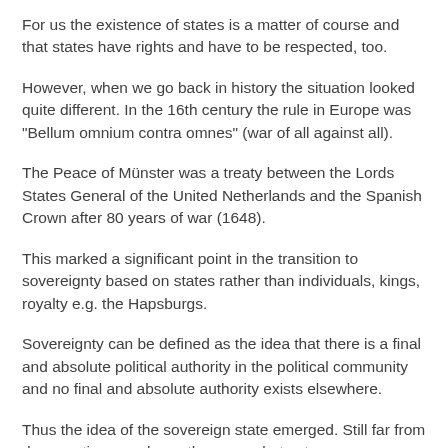For us the existence of states is a matter of course and that states have rights and have to be respected, too.
However, when we go back in history the situation looked quite different. In the 16th century the rule in Europe was "Bellum omnium contra omnes" (war of all against all).
The Peace of Münster was a treaty between the Lords States General of the United Netherlands and the Spanish Crown after 80 years of war (1648).
This marked a significant point in the transition to sovereignty based on states rather than individuals, kings, royalty e.g. the Hapsburgs.
Sovereignty can be defined as the idea that there is a final and absolute political authority in the political community and no final and absolute authority exists elsewhere.
Thus the idea of the sovereign state emerged. Still far from democratic as we know them now, but yet.
The 18th century shows a landscape of tough regional divide and rule politics, but political leaders kept holding on to this idea of the sovereign state.